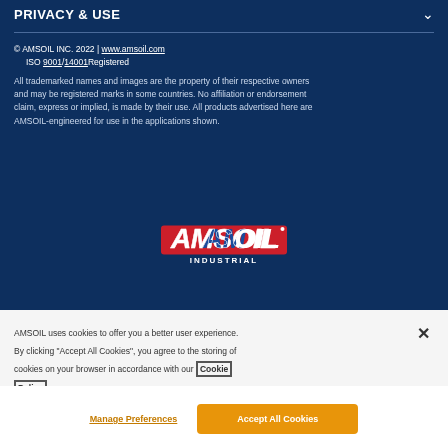PRIVACY & USE
© AMSOIL INC. 2022 | www.amsoil.com
    ISO 9001/14001Registered
All trademarked names and images are the property of their respective owners and may be registered marks in some countries. No affiliation or endorsement claim, express or implied, is made by their use. All products advertised here are AMSOIL-engineered for use in the applications shown.
[Figure (logo): AMSOIL INDUSTRIAL logo in red, white, and blue italic lettering with INDUSTRIAL beneath in white bold text on dark blue background]
AMSOIL uses cookies to offer you a better user experience. By clicking "Accept All Cookies", you agree to the storing of cookies on your browser in accordance with our Cookie Policy
Manage Preferences
Accept All Cookies